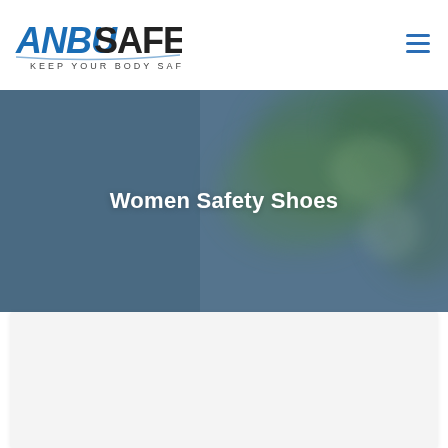[Figure (logo): AnbuSafety logo with text ANBU in blue italic bold and SAFETY in dark/black bold, tagline KEEP YOUR BODY SAFE below]
[Figure (other): Hamburger menu icon (three horizontal blue lines) in top right corner]
[Figure (photo): Hero banner with blurred blue-green background showing out-of-focus plant/foliage imagery with steel-blue tones]
Women Safety Shoes
[Figure (other): Light gray content area / card below the hero banner, empty product listing area]